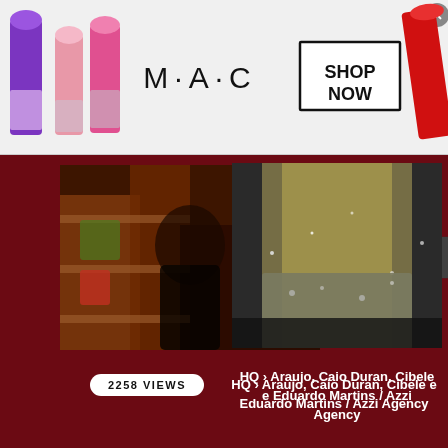[Figure (photo): MAC Cosmetics advertisement banner showing lipsticks and 'SHOP NOW' box]
[Figure (photo): Left thumbnail: close-up of person in colorful outfit]
2258 VIEWS
[Figure (photo): Right thumbnail: person with long blonde hair in sparkly outfit]
HQ › Araujo, Caio Duran, Cibele e Eduardo Martins / Azzi Agency
2005 VIEWS
[Figure (screenshot): Sam's Club advertisement: 'Get all the perks with Plus'. Free Shipping. Every day at SamsClub.com. Exclusions apply. www.samsclub.com]